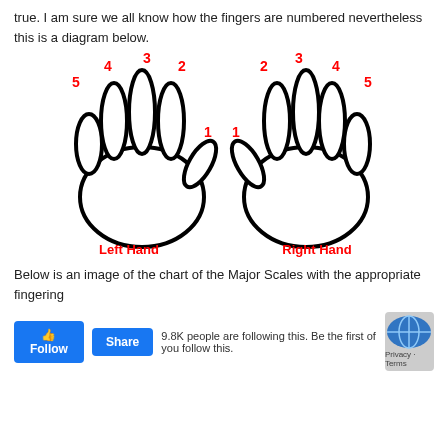true. I am sure we all know how the fingers are numbered nevertheless this is a diagram below.
[Figure (illustration): Diagram of left and right hand with fingers numbered 1-5 in red. Left hand: thumb=1, index=2, middle=3, ring=4, pinky=5. Right hand: thumb=1, index=2, middle=3, ring=4, pinky=5. Labels 'Left Hand' and 'Right Hand' in bold red text below each hand.]
Below is an image of the chart of the Major Scales with the appropriate fingering
9.8K people are following this. Be the first of you follow this.